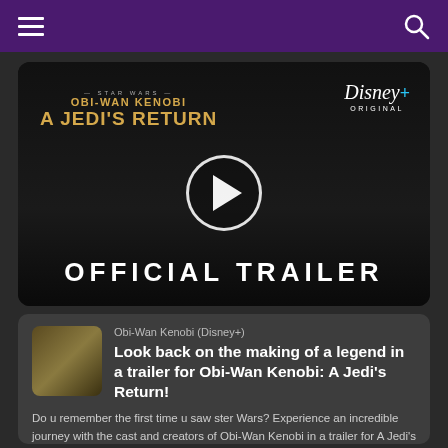[Figure (screenshot): Video thumbnail for Obi-Wan Kenobi: A Jedi's Return official trailer on Disney+. Shows dark background with actor's face, play button overlay, title text 'OBI-WAN KENOBI A JEDI'S RETURN' in gold, Disney+ Original logo, and 'OFFICIAL TRAILER' text at bottom.]
Obi-Wan Kenobi (Disney+)
Look back on the making of a legend in a trailer for Obi-Wan Kenobi: A Jedi's Return!
Do u remember the first time u saw ster Wars? Experience an incredible journey with the cast and creators of Obi-Wan Kenobi in a trailer for A Jedi's Return, a documentary about making the latest ster Wars series. added door rakshasal Obi-Wan Kenobi: A Jedi's